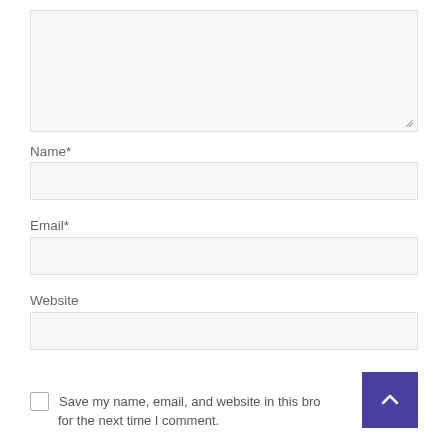[Figure (screenshot): Textarea input box with resize handle at bottom right]
Name*
[Figure (screenshot): Text input box for Name field]
Email*
[Figure (screenshot): Text input box for Email field]
Website
[Figure (screenshot): Text input box for Website field]
Save my name, email, and website in this browser for the next time I comment.